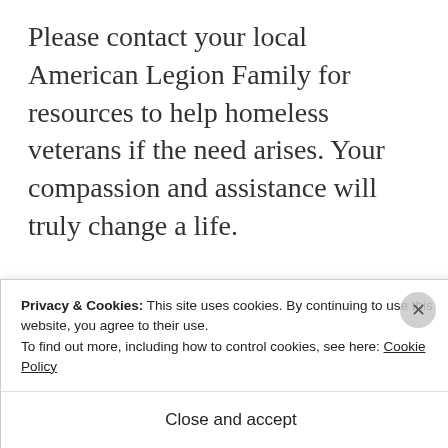Please contact your local American Legion Family for resources to help homeless veterans if the need arises. Your compassion and assistance will truly change a life.
Advertisements
[Figure (screenshot): Advertisement box with light blue-grey background showing partial text 'Build a writing habit. Post on the go.']
Privacy & Cookies: This site uses cookies. By continuing to use this website, you agree to their use.
To find out more, including how to control cookies, see here: Cookie Policy
Close and accept